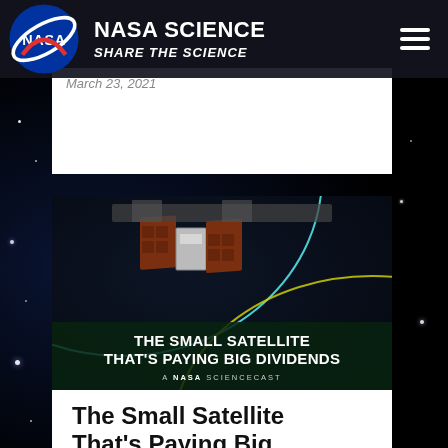NASA SCIENCE – SHARE THE SCIENCE
March 23, 2021
[Figure (screenshot): NASA ScienceCast video thumbnail showing two small satellites with solar panels in orbit, with cyan and yellow orbital arc lines against a dark space background, overlaid with text: THE SMALL SATELLITE THAT'S PAYING BIG DIVIDENDS – A NASA SCIENCECAST]
The Small Satellite That's Paying Big...